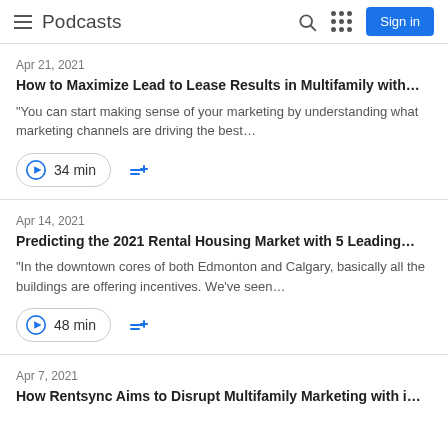Podcasts | Sign in
Apr 21, 2021
How to Maximize Lead to Lease Results in Multifamily with…
"You can start making sense of your marketing by understanding what marketing channels are driving the best…
34 min
Apr 14, 2021
Predicting the 2021 Rental Housing Market with 5 Leading…
"In the downtown cores of both Edmonton and Calgary, basically all the buildings are offering incentives. We've seen…
48 min
Apr 7, 2021
How Rentsync Aims to Disrupt Multifamily Marketing with i…